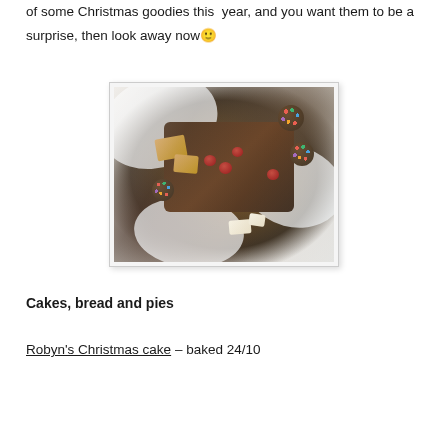of some Christmas goodies this year, and you want them to be a surprise, then look away now 🙂
[Figure (photo): Overhead photo of Christmas goodies in a bowl lined with tissue paper and plastic wrap, showing chocolate balls with coloured sprinkles, raspberries, fudge pieces, and white chocolate chunks.]
Cakes, bread and pies
Robyn's Christmas cake – baked 24/10